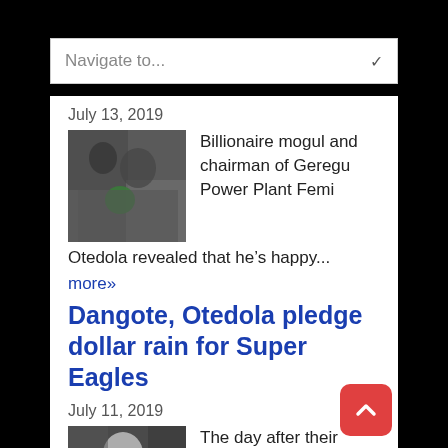Navigate to...
July 13, 2019
[Figure (photo): Group photo of several people]
Billionaire mogul and chairman of Geregu Power Plant Femi Otedola revealed that he’s happy...
more»
Dangote, Otedola pledge dollar rain for Super Eagles
July 11, 2019
[Figure (photo): Photo of a man in white shirt]
The day after their exquisite and efficient performance against the